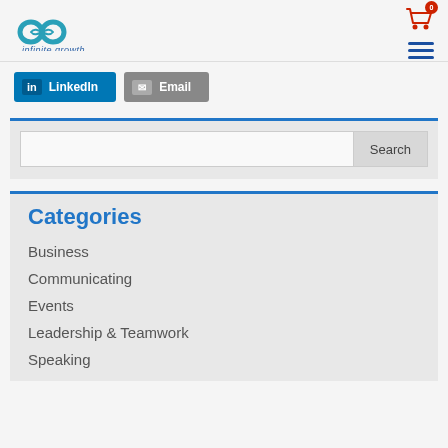infinite growth
[Figure (logo): Infinite growth logo with infinity symbol in teal/blue and text 'infinite growth' below]
LinkedIn   Email
Search
Categories
Business
Communicating
Events
Leadership & Teamwork
Speaking